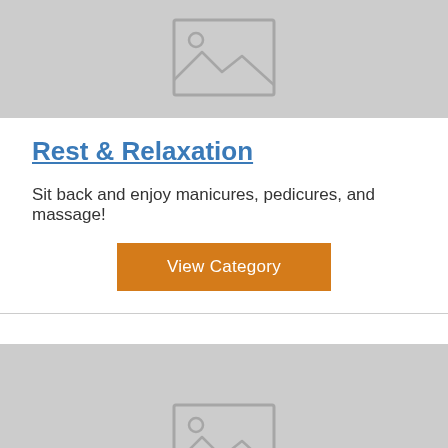[Figure (photo): Placeholder image at top, gray background with image placeholder icon]
Rest & Relaxation
Sit back and enjoy manicures, pedicures, and massage!
View Category
[Figure (photo): Placeholder image at bottom, gray background with image placeholder icon]